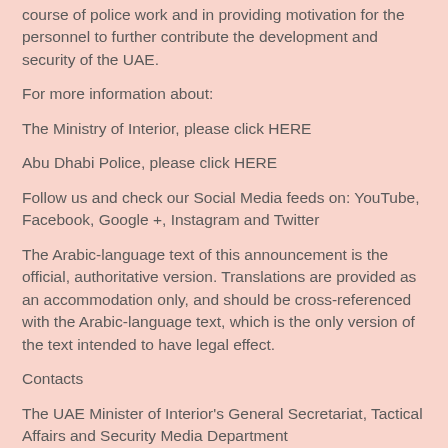course of police work and in providing motivation for the personnel to further contribute the development and security of the UAE.
For more information about:
The Ministry of Interior, please click HERE
Abu Dhabi Police, please click HERE
Follow us and check our Social Media feeds on: YouTube, Facebook, Google +, Instagram and Twitter
The Arabic-language text of this announcement is the official, authoritative version. Translations are provided as an accommodation only, and should be cross-referenced with the Arabic-language text, which is the only version of the text intended to have legal effect.
Contacts
The UAE Minister of Interior's General Secretariat, Tactical Affairs and Security Media Department